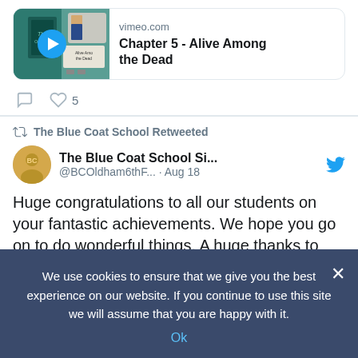[Figure (screenshot): Vimeo video card thumbnail showing a book cover with play button, for Chapter 5 - Alive Among the Dead]
vimeo.com
Chapter 5 - Alive Among the Dead
5 likes
The Blue Coat School Retweeted
The Blue Coat School Si...
@BCOldham6thF... · Aug 18
Huge congratulations to all our students on your fantastic achievements. We hope you go on to do wonderful things. A huge thanks to staff, parents, carers & mentors for ensuring our students' success. Party hard
We use cookies to ensure that we give you the best experience on our website. If you continue to use this site we will assume that you are happy with it.
Ok